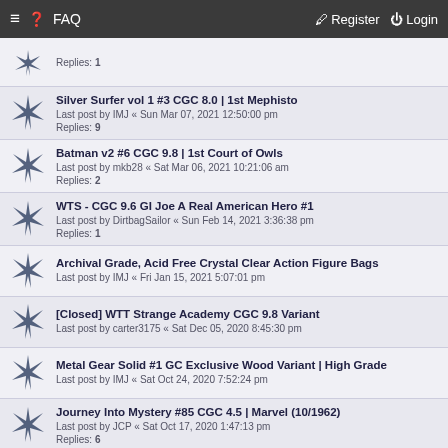≡ ? FAQ   Register Login
Replies: 1
Silver Surfer vol 1 #3 CGC 8.0 | 1st Mephisto
Last post by IMJ « Sun Mar 07, 2021 12:50:00 pm
Replies: 9
Batman v2 #6 CGC 9.8 | 1st Court of Owls
Last post by mkb28 « Sat Mar 06, 2021 10:21:06 am
Replies: 2
WTS - CGC 9.6 GI Joe A Real American Hero #1
Last post by DirtbagSailor « Sun Feb 14, 2021 3:36:38 pm
Replies: 1
Archival Grade, Acid Free Crystal Clear Action Figure Bags
Last post by IMJ « Fri Jan 15, 2021 5:07:01 pm
[Closed] WTT Strange Academy CGC 9.8 Variant
Last post by carter3175 « Sat Dec 05, 2020 8:45:30 pm
Metal Gear Solid #1 GC Exclusive Wood Variant | High Grade
Last post by IMJ « Sat Oct 24, 2020 7:52:24 pm
Journey Into Mystery #85 CGC 4.5 | Marvel (10/1962)
Last post by JCP « Sat Oct 17, 2020 1:47:13 pm
Replies: 6
Incredible Hulk #181 CGC 8.0 White Pages | 1st Wolverine
Last post by IMJ « Fri Oct 16, 2020 8:25:47 ...